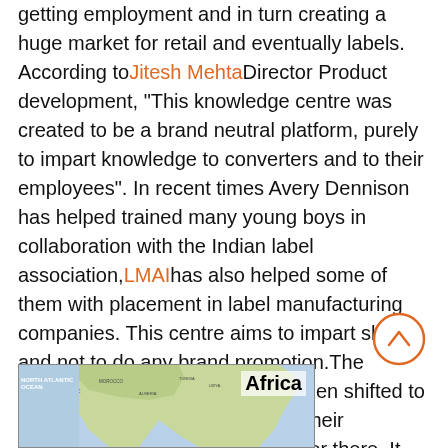getting employment and in turn creating a huge market for retail and eventually labels. According to Jitesh Mehta Director Product development, "This knowledge centre was created to be a brand neutral platform, purely to impart knowledge to converters and to their employees". In recent times Avery Dennison has helped trained many young boys in collaboration with the Indian label association, LMAI has also helped some of them with placement in label manufacturing companies. This centre aims to impart skills and not to do any brand promotion.The knowledge center has recently been shifted to Pune because they already had their Research and Development center there. It was synergy to have the Research and Development center and knowledge center at the same place.
[Figure (map): Partial map showing Africa region with North Atlantic Ocean label on the left side]